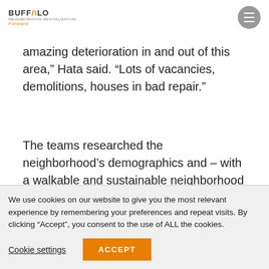BUFFALO Forward
amazing deterioration in and out of this area,” Hata said. “Lots of vacancies, demolitions, houses in bad repair.”
The teams researched the neighborhood’s demographics and – with a walkable and sustainable neighborhood plan in mind –
We use cookies on our website to give you the most relevant experience by remembering your preferences and repeat visits. By clicking “Accept”, you consent to the use of ALL the cookies.
Cookie settings  ACCEPT